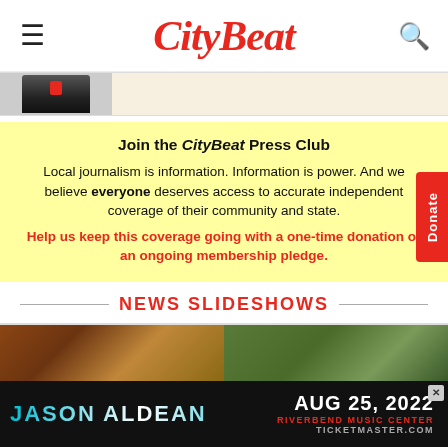CityBeat
[Figure (photo): Partial image strip showing a dark award/trophy object on the left and a cream/beige background on the right]
Join the CityBeat Press Club

Local journalism is information. Information is power. And we believe everyone deserves access to accurate independent coverage of their community and state.
Help us keep this coverage going with a one-time donation or an ongoing membership pledge.
NEWS SLIDESHOWS
[Figure (photo): Two slideshow thumbnail images side by side — left shows a building facade with warm tones, right shows trees/foliage with green tones]
[Figure (other): Advertisement banner: Jason Aldean, Aug 25, 2022, Riverbend Music Center, Ticketmaster.com]